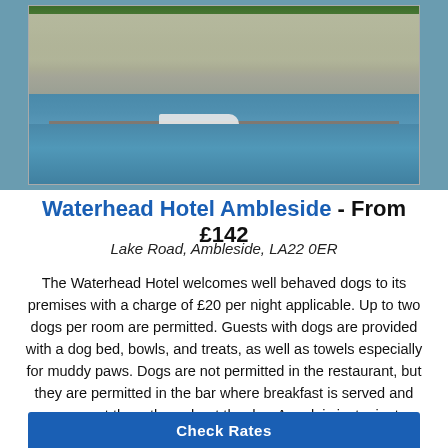[Figure (photo): Photo of Waterhead Hotel Ambleside showing the lakeside view with boats, a dock, trees and the hotel building in the background]
Waterhead Hotel Ambleside - From £142
Lake Road, Ambleside, LA22 0ER
The Waterhead Hotel welcomes well behaved dogs to its premises with a charge of £20 per night applicable. Up to two dogs per room are permitted. Guests with dogs are provided with a dog bed, bowls, and treats, as well as towels especially for muddy paws. Dogs are not permitted in the restaurant, but they are permitted in the bar where breakfast is served and you can eat there throughout the day. A park is just minutes away, offering excellent off lead opportunities.
Check Rates